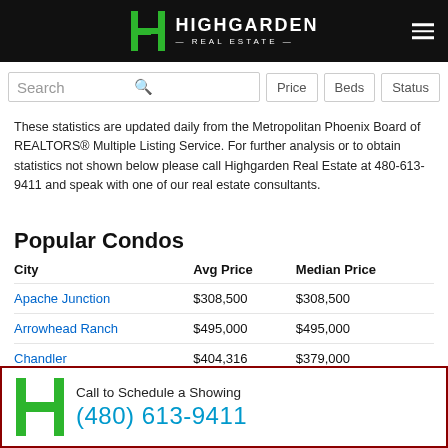Highgarden Real Estate
Search | Price | Beds | Status
These statistics are updated daily from the Metropolitan Phoenix Board of REALTORS® Multiple Listing Service. For further analysis or to obtain statistics not shown below please call Highgarden Real Estate at 480-613-9411 and speak with one of our real estate consultants.
Popular Condos
| City | Avg Price | Median Price |
| --- | --- | --- |
| Apache Junction | $308,500 | $308,500 |
| Arrowhead Ranch | $495,000 | $495,000 |
| Chandler | $404,316 | $379,000 |
Call to Schedule a Showing
(480) 613-9411